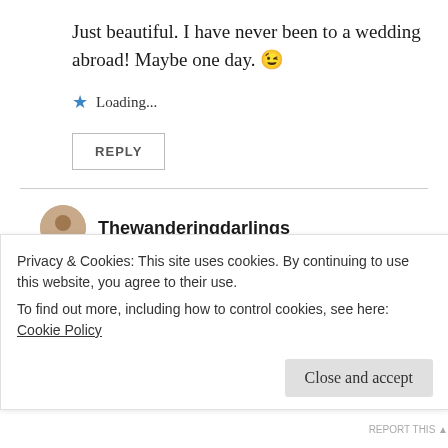Just beautiful. I have never been to a wedding abroad! Maybe one day. 😉
Loading...
REPLY
Thewanderingdarlings
February 26, 2018 at 8:38 pm
It was my first one as well! Such a good experience
Privacy & Cookies: This site uses cookies. By continuing to use this website, you agree to their use.
To find out more, including how to control cookies, see here: Cookie Policy
Close and accept